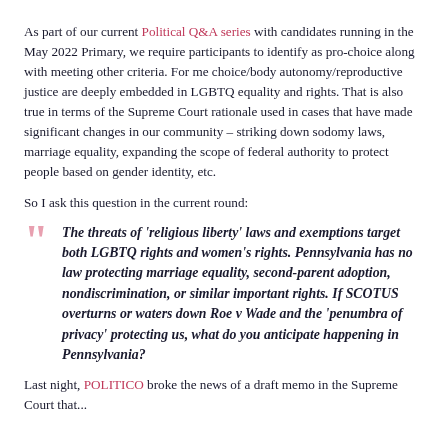As part of our current Political Q&A series with candidates running in the May 2022 Primary, we require participants to identify as pro-choice along with meeting other criteria. For me choice/body autonomy/reproductive justice are deeply embedded in LGBTQ equality and rights. That is also true in terms of the Supreme Court rationale used in cases that have made significant changes in our community – striking down sodomy laws, marriage equality, expanding the scope of federal authority to protect people based on gender identity, etc.
So I ask this question in the current round:
The threats of 'religious liberty' laws and exemptions target both LGBTQ rights and women's rights. Pennsylvania has no law protecting marriage equality, second-parent adoption, nondiscrimination, or similar important rights. If SCOTUS overturns or waters down Roe v Wade and the 'penumbra of privacy' protecting us, what do you anticipate happening in Pennsylvania?
Last night, POLITICO broke the news of a draft memo in the Supreme Court that...